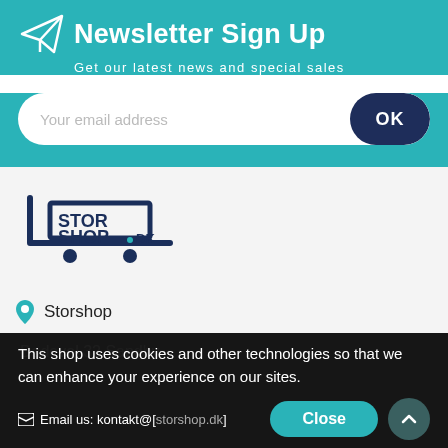Newsletter Sign Up
Get our latest news and special sales
Your email address
OK
[Figure (logo): StorShop.dk logo with shopping cart icon]
Storshop
Dadevel 32 Sandby
This shop uses cookies and other technologies so that we can enhance your experience on our sites.
Email us: kontakt@[storshop.dk]
Close